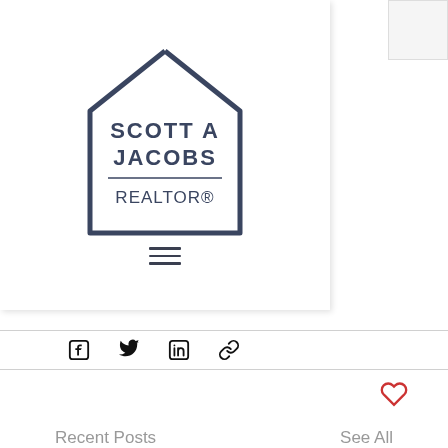[Figure (logo): Scott A Jacobs Realtor logo inside a house outline shape]
[Figure (infographic): Hamburger menu icon (three horizontal lines)]
[Figure (infographic): Social share icons: Facebook, Twitter, LinkedIn, link/copy]
[Figure (infographic): Heart/like icon in red outline]
Recent Posts
See All
[Figure (photo): Partial view of a For Sale sign on dark background]
[Figure (photo): Underwater scene with various objects submerged, teal/cyan tones]
[Figure (photo): Purple background with partial text TGAGE ATION visible]
[Figure (infographic): Scroll-to-top circular button (dark grey with upward chevron)]
[Figure (infographic): Blue circular more/ellipsis button with three white dots]